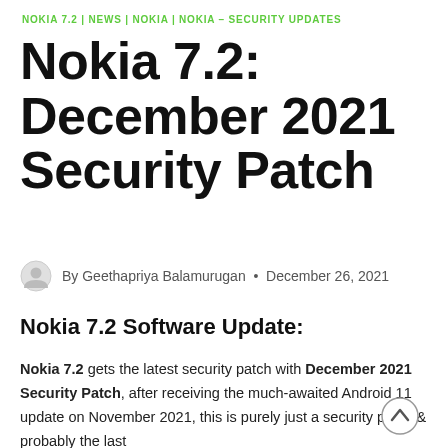NOKIA 7.2 | NEWS | NOKIA | NOKIA - SECURITY UPDATES
Nokia 7.2: December 2021 Security Patch
By Geethapriya Balamurugan • December 26, 2021
Nokia 7.2 Software Update:
Nokia 7.2 gets the latest security patch with December 2021 Security Patch, after receiving the much-awaited Android 11 update on November 2021, this is purely just a security patch & probably the last